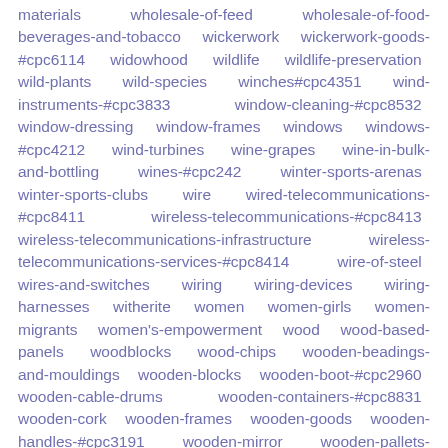materials wholesale-of-feed wholesale-of-food-beverages-and-tobacco wickerwork wickerwork-goods-#cpc6114 widowhood wildlife wildlife-preservation wild-plants wild-species winches#cpc4351 wind-instruments-#cpc3833 window-cleaning-#cpc8532 window-dressing window-frames windows windows-#cpc4212 wind-turbines wine-grapes wine-in-bulk-and-bottling wines-#cpc242 winter-sports-arenas winter-sports-clubs wire wired-telecommunications-#cpc8411 wireless-telecommunications-#cpc8413 wireless-telecommunications-infrastructure wireless-telecommunications-services-#cpc8414 wire-of-steel wires-and-switches wiring wiring-devices wiring-harnesses witherite women women-girls women-migrants women's-empowerment wood wood-based-panels woodblocks wood-chips wooden-beadings-and-mouldings wooden-blocks wooden-boot-#cpc2960 wooden-cable-drums wooden-containers-#cpc8831 wooden-cork wooden-frames wooden-goods wooden-handles-#cpc3191 wooden-mirror wooden-pallets-#cpc8715 wooden-railway-sleepers woodenware wood-flour-#cpc3122 wood-impregnation wood-machining wood-particles-#cpc3123 wood-partitions wood-planing wood-production wood-products-#cpc8831 wood-sawmilling wood-wool-#cpc3122 wool-fleece-#cpc261 woollen-